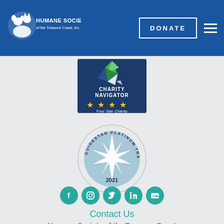[Figure (logo): Humane Society of the Treasure Coast, Inc. logo with dog and cat silhouette, on blue header bar]
[Figure (other): DONATE button with white border on blue background]
[Figure (logo): Charity Navigator Four Star Charity badge with four gold stars on dark blue background]
[Figure (logo): GuideStar Platinum Transparency 2021 seal, circular badge with star burst in light blue]
[Figure (infographic): Social media icons: Facebook, Instagram, Twitter, LinkedIn, YouTube in teal circles]
Contact Us
Humane Society of the Treasure Coast